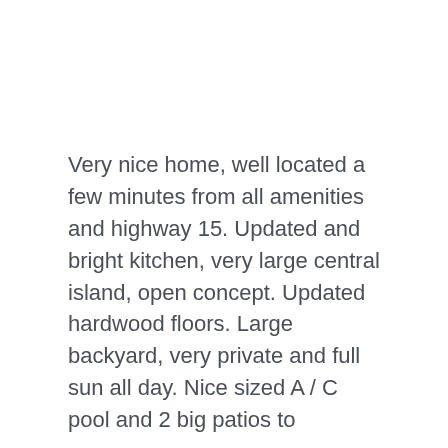Very nice home, well located a few minutes from all amenities and highway 15. Updated and bright kitchen, very large central island, open concept. Updated hardwood floors. Large backyard, very private and full sun all day. Nice sized A / C pool and 2 big patios to